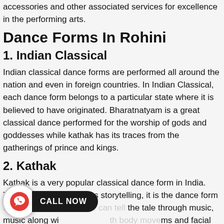accessories and other associated services for excellence in the performing arts.
Dance Forms In Rohini
1. Indian Classical
Indian classical dance forms are performed all around the nation and even in foreign countries. In Indian Classical, each dance form belongs to a particular state where it is believed to have originated. Bharatnatyam is a great classical dance performed for the worship of gods and goddesses while kathak has its traces from the gatherings of prince and kings.
2. Kathak
Kathak is a very popular classical dance form in India. The word 'Kathak' means storytelling, it is the dance form where one can tell the tale through music, music along with body movements and facial expressions. This